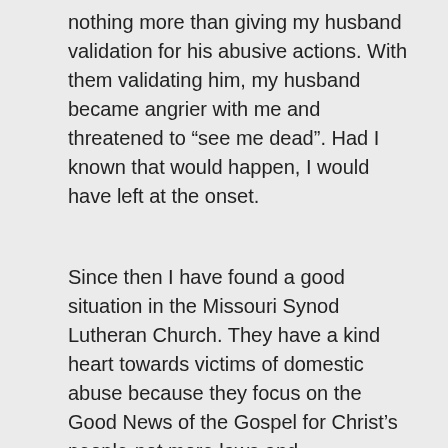nothing more than giving my husband validation for his abusive actions. With them validating him, my husband became angrier with me and threatened to “see me dead”. Had I known that would happen, I would have left at the onset.
Since then I have found a good situation in the Missouri Synod Lutheran Church. They have a kind heart towards victims of domestic abuse because they focus on the Good News of the Gospel for Christ’s people-not more laws and